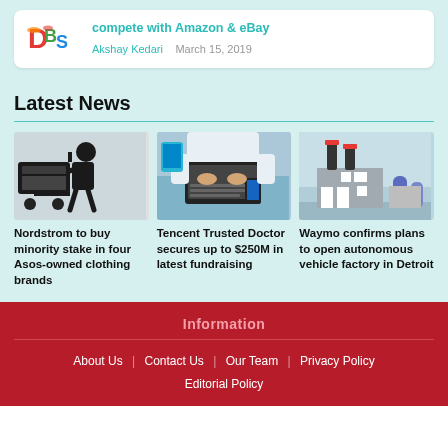[Figure (screenshot): Article card with colorful logo and headline: compete with Amazon & eBay, by Akshay Kedari, March 15, 2019]
Latest News
[Figure (illustration): Silhouette of person with delivery cart/luggage]
Nordstrom to buy minority stake in four Asos-owned clothing brands
[Figure (photo): Person typing on laptop with medical/doctor context]
Tencent Trusted Doctor secures up to $250M in latest fundraising
[Figure (illustration): Cartoon factory building illustration]
Waymo confirms plans to open autonomous vehicle factory in Detroit
Information | About Us | Contact Us | Our Team | Privacy Policy | Editorial Policy